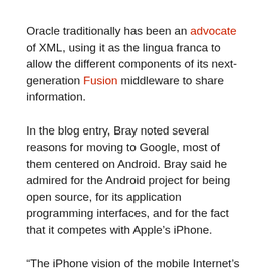Oracle traditionally has been an advocate of XML, using it as the lingua franca to allow the different components of its next-generation Fusion middleware to share information.
In the blog entry, Bray noted several reasons for moving to Google, most of them centered on Android. Bray said he admired for the Android project for being open source, for its application programming interfaces, and for the fact that it competes with Apple's iPhone.
“The iPhone vision of the mobile Internet’s future” is “a sterile Disney-fied walled garden surrounded by sharp-toothed lawyers. The people who create the apps serve at the landlord’s pleasure and fear his anger,” Bray wrote.